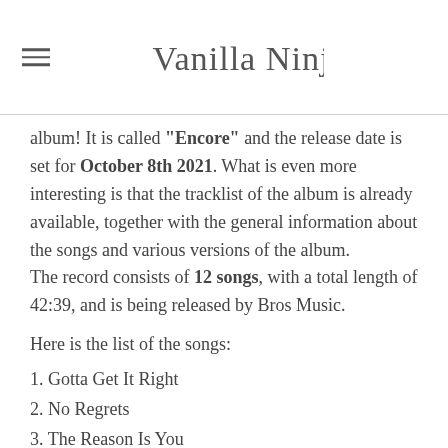Vanilla Ninja
album! It is called “Encore” and the release date is set for October 8th 2021. What is even more interesting is that the tracklist of the album is already available, together with the general information about the songs and various versions of the album.
The record consists of 12 songs, with a total length of 42:39, and is being released by Bros Music.
Here is the list of the songs:
1. Gotta Get It Right
2. No Regrets
3. The Reason Is You
4. Driving Through the Night